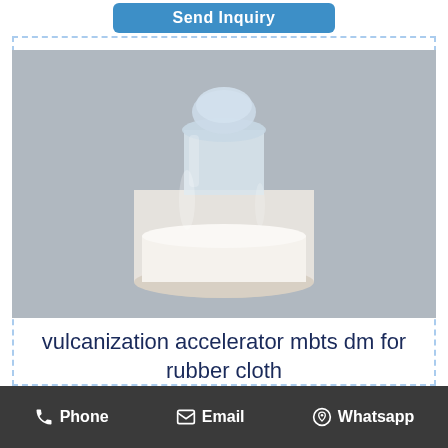Send Inquiry
[Figure (photo): A clear glass bottle with a stopper containing white powder, photographed against a gray background.]
vulcanization accelerator mbts dm for rubber cloth
CAS 120-78-5, accelerator MBTS (DM) for sale. CAS 120-78-5, 2,2'- Dithiobisbenzothiazole, vulcanization accelerator MBTS (CAS 120-78-5)
Phone
Email
Whatsapp